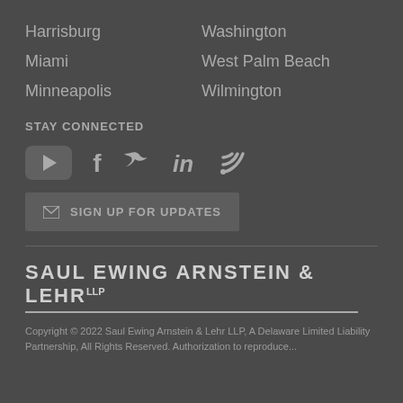Harrisburg
Miami
Minneapolis
Washington
West Palm Beach
Wilmington
STAY CONNECTED
[Figure (illustration): Social media icons: YouTube, Facebook, Twitter, LinkedIn, RSS feed]
[Figure (infographic): Email envelope icon with SIGN UP FOR UPDATES button]
SAUL EWING ARNSTEIN & LEHR LLP
Copyright © 2022 Saul Ewing Arnstein & Lehr LLP, A Delaware Limited Liability Partnership, All Rights Reserved. Authorization to reproduce...